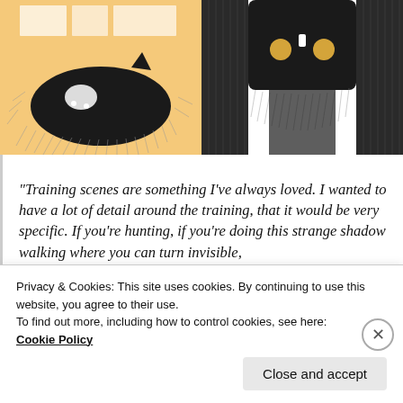[Figure (illustration): Two book illustrations side by side. Left: a black and white cat curled up on a yellow/orange background. Right: a dark shadowy monster-like figure with two golden/yellow eyes and small white details between large dark tree-like forms, on white background.]
“Training scenes are something I’ve always loved. I wanted to have a lot of detail around the training, that it would be very specific. If you’re hunting, if you’re doing this strange shadow walking where you can turn invisible,
Privacy & Cookies: This site uses cookies. By continuing to use this website, you agree to their use.
To find out more, including how to control cookies, see here:
Cookie Policy